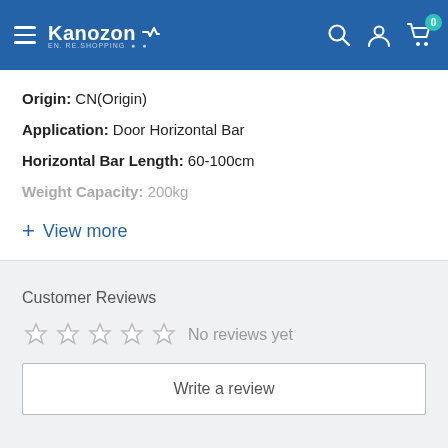Kanozon — navigation header with hamburger menu, search, account, and cart icons
Origin: CN(Origin)
Application: Door Horizontal Bar
Horizontal Bar Length: 60-100cm
Weight Capacity: 200kg
+ View more
Customer Reviews
No reviews yet
Write a review